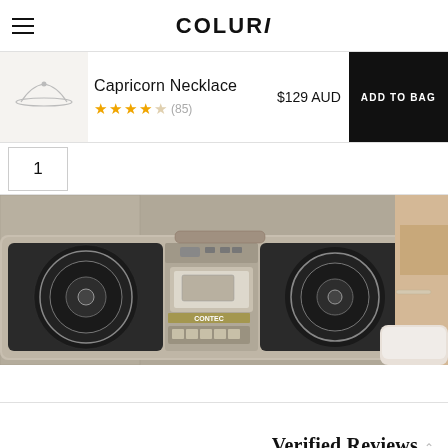COLURi
Capricorn Necklace
★★★★★ (85)
$129 AUD
ADD TO BAG
1
[Figure (photo): Vintage boombox/cassette player with two large circular speakers on either side of a central cassette deck, resting on a surface. A person's arm holding the boombox is visible on the right side.]
Verified Reviews